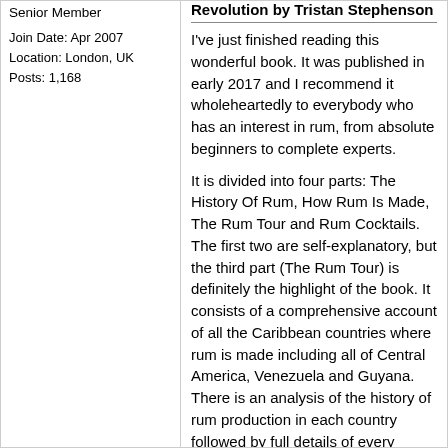Revolution by Tristan Stephenson
Senior Member
Join Date: Apr 2007
Location: London, UK
Posts: 1,168
I've just finished reading this wonderful book. It was published in early 2017 and I recommend it wholeheartedly to everybody who has an interest in rum, from absolute beginners to complete experts.
It is divided into four parts: The History Of Rum, How Rum Is Made, The Rum Tour and Rum Cocktails. The first two are self-explanatory, but the third part (The Rum Tour) is definitely the highlight of the book. It consists of a comprehensive account of all the Caribbean countries where rum is made including all of Central America, Venezuela and Guyana. There is an analysis of the history of rum production in each country followed by full details of every distillery still operating in that country.
Stephenson's prose is - at all times - easy to read, yet packed full of useful information - the chapters on Guadeloupe and Martinique are outstanding. At the end of 'The